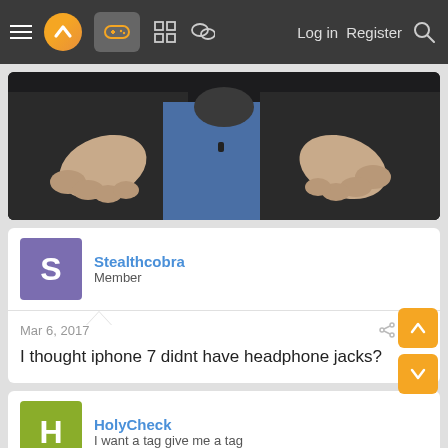Navigation bar with menu, logo, gamepad icon, grid icon, chat icon, Log in, Register, Search
[Figure (photo): A person in a dark jacket and blue shirt gesturing with both hands, speaking or presenting]
Stealthcobra
Member
Mar 6, 2017
#32
I thought iphone 7 didnt have headphone jacks?
HolyCheck
I want a tag give me a tag